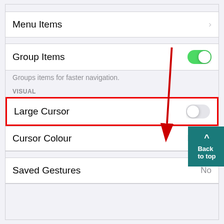Menu Items
Group Items
Groups items for faster navigation.
VISUAL
Large Cursor
Cursor Colour   Blue >
Saved Gestures   No
[Figure (screenshot): iOS settings screenshot showing menu items, group items toggle (on/green), visual section header, large cursor toggle (off/gray, highlighted with red border and red arrow annotation), cursor colour set to Blue, back-to-top button, and saved gestures row.]